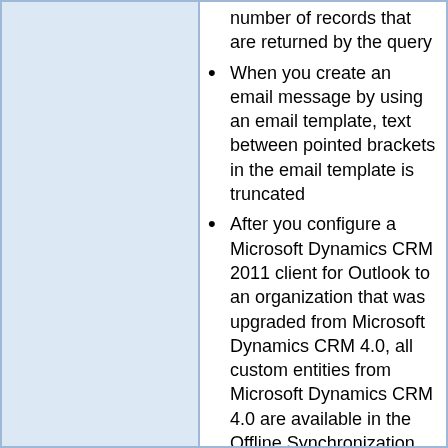number of records that are returned by the query
When you create an email message by using an email template, text between pointed brackets in the email template is truncated
After you configure a Microsoft Dynamics CRM 2011 client for Outlook to an organization that was upgraded from Microsoft Dynamics CRM 4.0, all custom entities from Microsoft Dynamics CRM 4.0 are available in the Offline Synchronization filters.
However, after you complete a reset on the offline data filters, the custom entities from